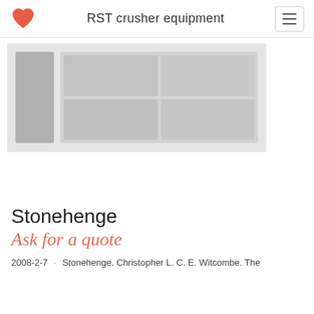RST crusher equipment
[Figure (photo): Faded/placeholder hero image area showing a dark sidebar panel on the left and a grid of lighter gray panels on the right, resembling a dimmed product or landscape photograph.]
Stonehenge
Ask for a quote
2008-2-7 · Stonehenge. Christopher L. C. E. Witcombe. The